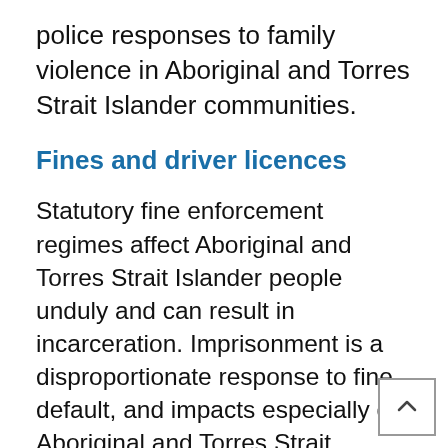police responses to family violence in Aboriginal and Torres Strait Islander communities.
Fines and driver licences
Statutory fine enforcement regimes affect Aboriginal and Torres Strait Islander people unduly and can result in incarceration. Imprisonment is a disproportionate response to fine default, and impacts especially on Aboriginal and Torres Strait Islander women. In Chapter 12, the ALRC recommends the amendment of fine